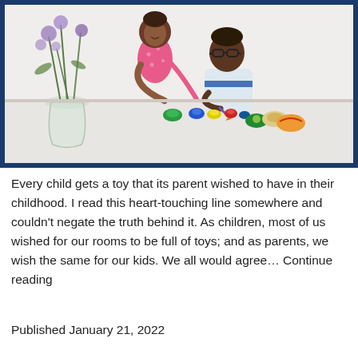[Figure (photo): Two children, a girl in a pink polka-dot dress and a boy wearing glasses and a striped polo shirt, sitting at a white table painting rocks with colorful paints. A glass vase with flowers is visible in the background.]
Every child gets a toy that its parent wished to have in their childhood. I read this heart-touching line somewhere and couldn’t negate the truth behind it. As children, most of us wished for our rooms to be full of toys; and as parents, we wish the same for our kids. We all would agree... Continue reading
Published January 21, 2022